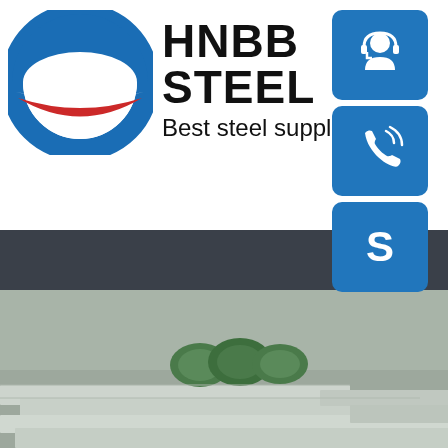[Figure (logo): HNBB STEEL company logo with circular Obama-style icon (blue ring, red stripe, white dome) and company name 'HNBB STEEL' in bold black, tagline 'Best steel supplie' below]
[Figure (photo): Steel warehouse interior showing large flat steel plates stacked on the floor and rolls of coiled steel in the background, concrete walls visible]
[Figure (infographic): Three blue square icon buttons on the right side: customer service headset icon, phone with signal waves icon, and Skype 'S' logo icon]